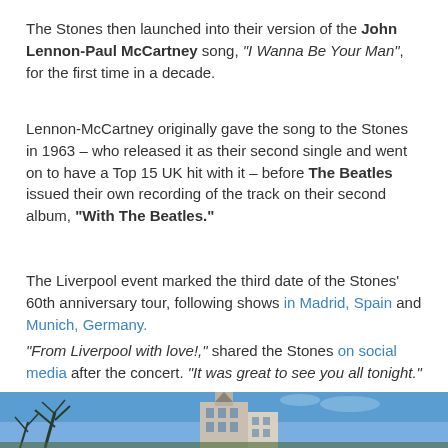The Stones then launched into their version of the John Lennon-Paul McCartney song, "I Wanna Be Your Man", for the first time in a decade.
Lennon-McCartney originally gave the song to the Stones in 1963 – who released it as their second single and went on to have a Top 15 UK hit with it – before The Beatles issued their own recording of the track on their second album, "With The Beatles."
The Liverpool event marked the third date of the Stones' 60th anniversary tour, following shows in Madrid, Spain and Munich, Germany.
"From Liverpool with love!," shared the Stones on social media after the concert. "It was great to see you all tonight."
The 2022 tour will continue with a June 13 appearance in Amsterdam.
[Figure (photo): Partial photo of a building with a tower/spire against a blue sky, with trees visible on the left side.]